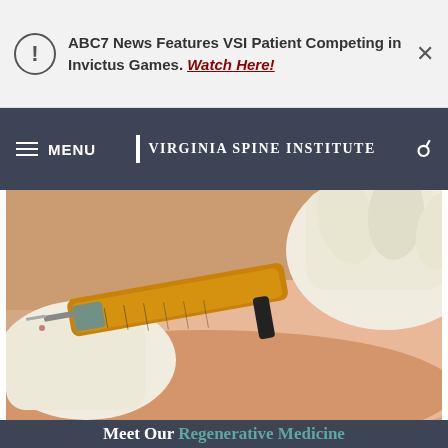ABC7 News Features VSI Patient Competing in Invictus Games. Watch Here!
VIRGINIA SPINE INSTITUTE
[Figure (photo): Close-up of gloved hands administering an injection with a syringe into skin]
Meet Our Regenerative Medicine